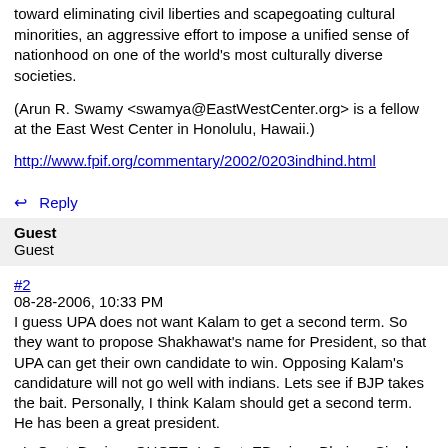toward eliminating civil liberties and scapegoating cultural minorities, an aggressive effort to impose a unified sense of nationhood on one of the world's most culturally diverse societies.
(Arun R. Swamy <swamya@EastWestCenter.org> is a fellow at the East West Center in Honolulu, Hawaii.)
http://www.fpif.org/commentary/2002/0203indhind.html
↩  Reply
Guest
Guest
#2
08-28-2006, 10:33 PM
I guess UPA does not want Kalam to get a second term. So they want to propose Shakhawat's name for President, so that UPA can get their own candidate to win. Opposing Kalam's candidature will not go well with indians. Lets see if BJP takes the bait. Personally, I think Kalam should get a second term. He has been a great president.
<!--QuoteBegin-->QUOTE<!--QuoteEBegin-->Bhairon Singh Shekhawat: The next President?
August 28, 2006
Vice President Bhairon Singh Shekhawat...